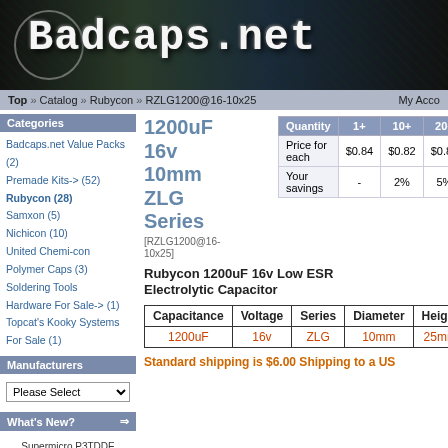[Figure (logo): Badcaps.net website banner with stylized gothic text logo on dark circuit board background]
Top » Catalog » Rubycon » RZLG1200@16-10x25    My Acco
Categories
Badcaps.net Value Packs (2)
Premade Kits-> (52)
Rubycon (28)
Samxon (5)
Nichicon (10)
United Chemi-con
Polymer Caps (3)
Soldering Tools
Hardware For Sale-> (1)
Topcat's Kooky Systems For Sale (1)
Manufacturers
What's New?
Supermicro P3TDDE Dual Tualatin Retro System $995.00
1200uF 16v 10mm ZLG Series
[RZLG1200@16-10x25]
| Quantity | 1+ | 10+ | 20+ | 50+ | 1... |
| --- | --- | --- | --- | --- | --- |
| Price for each | $0.84 | $0.82 | $0.80 | $0.78 | $... |
| Your savings | - | 2% | 5% | 7% | 1... |
[Figure (logo): Rubycon brand logo in yellow oval with italic text]
Click to enlarge
Rubycon 1200uF 16v Low ESR Electrolytic Capacitor
| Capacitance | Voltage | Series | Diameter | Height |
| --- | --- | --- | --- | --- |
| 1200uF | 16v | ZLG | 10mm | 25mm |
Standard shipping is $6.00 Shipping to a US